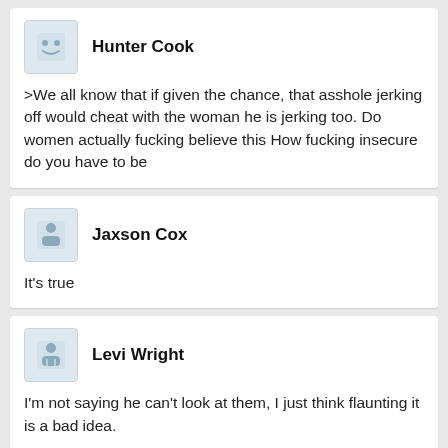Hunter Cook
>We all know that if given the chance, that asshole jerking off would cheat with the woman he is jerking too. Do women actually fucking believe this How fucking insecure do you have to be
Jaxson Cox
It's true
Levi Wright
I'm not saying he can't look at them, I just think flaunting it is a bad idea.
Aaron Carter
on here, so do you guys jerk off to your gfs more